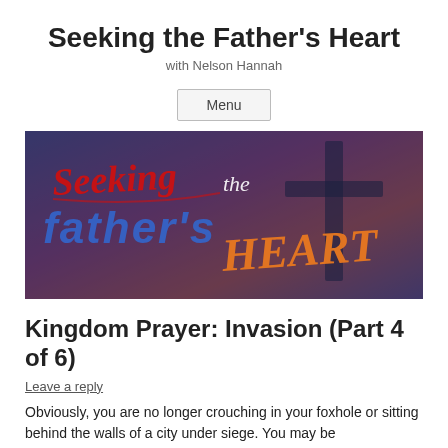Seeking the Father's Heart
with Nelson Hannah
Menu
[Figure (illustration): Banner image with stylized text reading 'Seeking the father's HEART' in red, blue, and orange lettering on a dark blue/purple textured background with a faint cross silhouette.]
Kingdom Prayer: Invasion (Part 4 of 6)
Leave a reply
Obviously, you are no longer crouching in your foxhole or sitting behind the walls of a city under siege. You may be